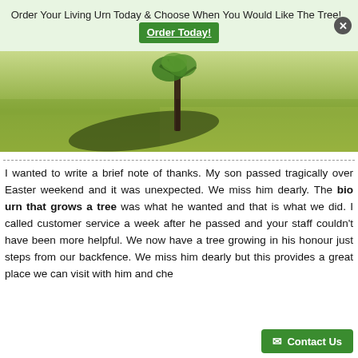Order Your Living Urn Today & Choose When You Would Like The Tree! Order Today!
[Figure (photo): A young tree sapling with shadow cast on a grassy field, outdoor photo.]
I wanted to write a brief note of thanks. My son passed tragically over Easter weekend and it was unexpected. We miss him dearly. The bio urn that grows a tree was what he wanted and that is what we did. I called customer service a week after he passed and your staff couldn't have been more helpful. We now have a tree growing in his honour just steps from our backfence. We miss him dearly but this provides a great place we can visit with him and cherish for ever. Thank you for this...